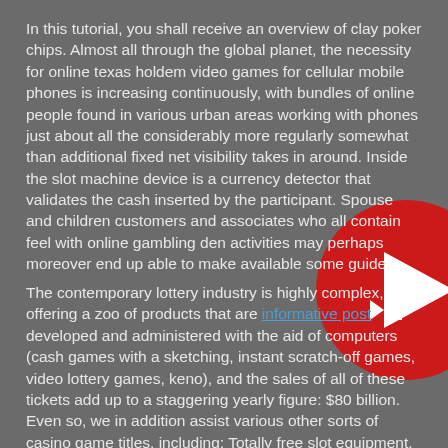In this tutorial, you shall receive an overview of clay poker chips. Almost all through the global planet, the necessity for online texas holdem video games for cellular mobile phones is increasing continuously, with bundles of online people found in various urban areas working with phones just about all the considerably more regularly somewhat than additional fixed net visibility takes in around. Inside the slot machine device is a currency detector that validates the cash inserted by the participant. Spouse and children customers and associates who all contain feel with online gambling den activities may perhaps moreover end up able to make available some guide.
The contemporary lottery industry is highly complex, offering a zoo of products that are informative post developed and administered with the aid of computers (cash games with a sketching, instant scratch-off games, video lottery games, keno), and the sales of all of these tickets add up to a staggering yearly figure: $80 billion. Even so, we in addition assist various other sorts of casino game titles, including: Totally free slot equipment. The activities accomplish not offer real income casino or an opportunity to win real prizes or income. You can carry out your favorite gambling house game titles, without having
[Figure (other): Red circular YouTube-style play button with white play triangle and skip icon overlay, partially visible at top right corner of page]